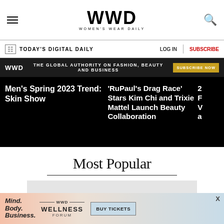WWD — Women's Wear Daily
TODAY'S DIGITAL DAILY | LOG IN | SUBSCRIBE
WWD — THE GLOBAL AUTHORITY ON FASHION, BEAUTY AND BUSINESS — SUBSCRIBE NOW
Men's Spring 2023 Trend: Skin Show
'RuPaul's Drag Race' Stars Kim Chi and Trixie Mattel Launch Beauty Collaboration
Most Popular
[Figure (other): Gray placeholder content block]
[Figure (other): WWD Wellness Forum advertisement banner with Mind. Body. Business. text and BUY TICKETS button]